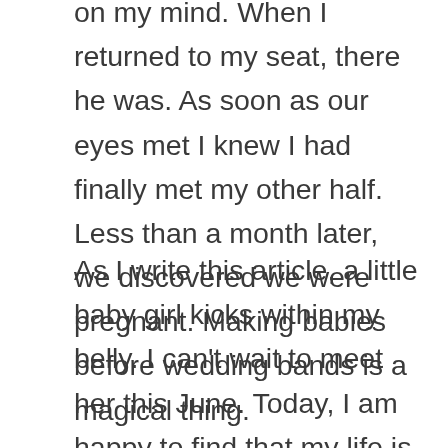on my mind. When I returned to my seat, there he was. As soon as our eyes met I knew I had finally met my other half. Less than a month later, we discovered we were pregnant. Making babies before wedding bands is a magical thing.
As I write this article, a little baby girl kicks within my belly. I can't wait to meet her this June. Today, I am happy to find that my life is still resonating along with pop culture. What a wonderful time it is to be pregnant in the world. For so long, I worried about the outcome of this year. Our collective unconscious has already survived the apocalypse. Together, we have chosen to bring new life to this planet after a tumultuous period of uncertainty. As we have all